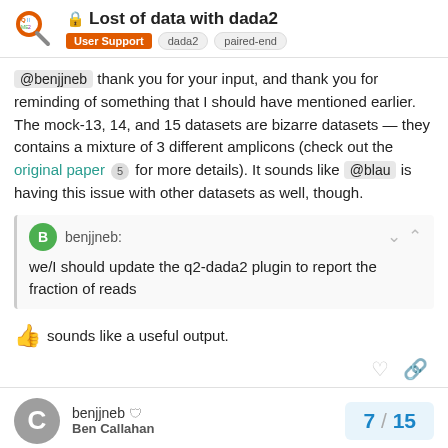Lost of data with dada2 | User Support | dada2 | paired-end
@benjjneb thank you for your input, and thank you for reminding of something that I should have mentioned earlier. The mock-13, 14, and 15 datasets are bizarre datasets — they contains a mixture of 3 different amplicons (check out the original paper 5 for more details). It sounds like @blau is having this issue with other datasets as well, though.
benjjneb: we/I should update the q2-dada2 plugin to report the fraction of reads
👍 sounds like a useful output.
benjjneb Ben Callahan 7 / 15